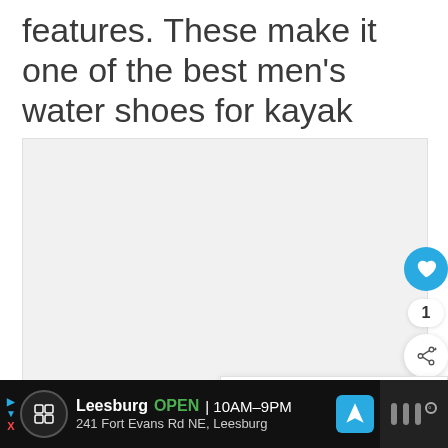features. These make it one of the best men's water shoes for kayak fishing.
[Figure (other): Large light gray image placeholder area with social interaction buttons (heart/like button in blue, count badge showing 1, and share button) on the right side. A 'What's Next' panel in the bottom right shows a thumbnail of whitewater and text 'Top 11 Best Whitewater...']
Leesburg OPEN 10AM–9PM 241 Fort Evans Rd NE, Leesburg